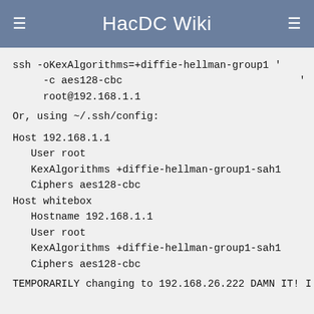HacDC Wiki
ssh -oKexAlgorithms=+diffie-hellman-group1 '
     -c aes128-cbc
     root@192.168.1.1
Or, using ~/.ssh/config:
Host 192.168.1.1
   User root
   KexAlgorithms +diffie-hellman-group1-sah1
   Ciphers aes128-cbc
Host whitebox
   Hostname 192.168.1.1
   User root
   KexAlgorithms +diffie-hellman-group1-sah1
   Ciphers aes128-cbc
TEMPORARILY changing to 192.168.26.222 DAMN IT! I